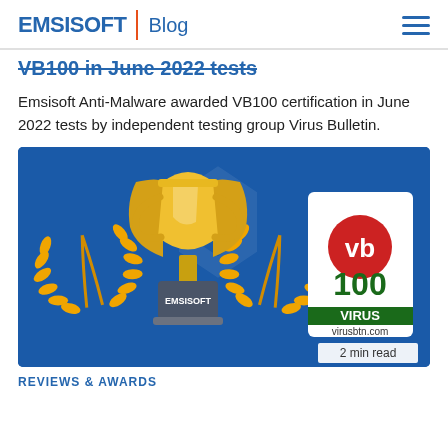EMSISOFT | Blog
VB100 in June 2022 tests
Emsisoft Anti-Malware awarded VB100 certification in June 2022 tests by independent testing group Virus Bulletin.
[Figure (illustration): Blue background illustration with a gold trophy on a dark pedestal labeled EMSISOFT with golden laurel wreaths on either side, and a VB100 Virus certification badge (virusbtn.com) on the right. '2 min read' label in bottom right corner.]
REVIEWS & AWARDS